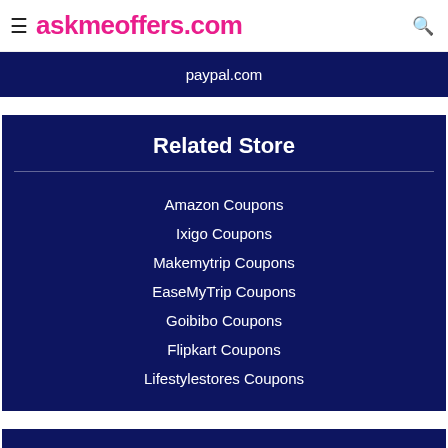≡ askmeoffers.com
paypal.com
Related Store
Amazon Coupons
Ixigo Coupons
Makemytrip Coupons
EaseMyTrip Coupons
Goibibo Coupons
Flipkart Coupons
Lifestylestores Coupons
Related Categories